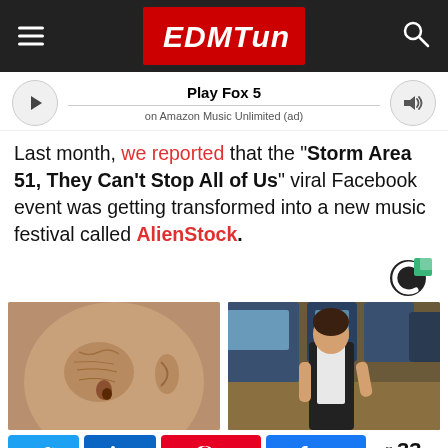EDMTunes
Play Fox 5 on Amazon Music Unlimited (ad)
Last month, we reported that the “Storm Area 51, They Can’t Stop All of Us” viral Facebook event was getting transformed into a new music festival called AlienStock.
[Figure (logo): Circular C logo with green accent, advertisement indicator]
[Figure (photo): Close-up of elderly person's face showing wrinkles around nose]
[Figure (photo): Woman in casino sitting near slot machines]
33 SHARES — Twitter, LinkedIn, Pinterest (3), Facebook (30)